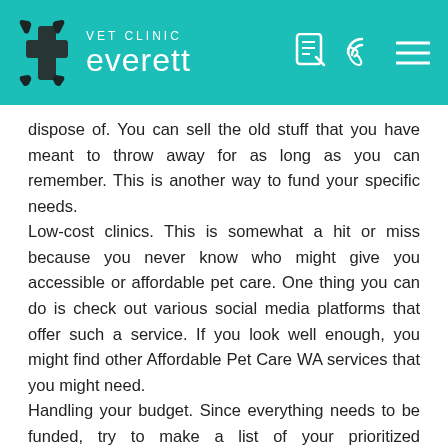VET CLINIC everett
dispose of. You can sell the old stuff that you have meant to throw away for as long as you can remember. This is another way to fund your specific needs.
Low-cost clinics. This is somewhat a hit or miss because you never know who might give you accessible or affordable pet care. One thing you can do is check out various social media platforms that offer such a service. If you look well enough, you might find other Affordable Pet Care WA services that you might need.
Handling your budget. Since everything needs to be funded, try to make a list of your prioritized budgeting. From there, you can categorize your expenses; it can be tempting to buy stuff that you won't need. But if your goal is clear, it should not be a problem.